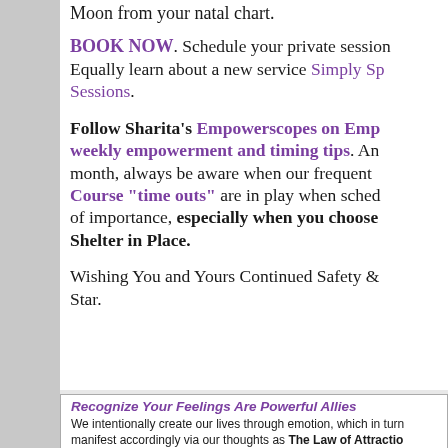Moon from your natal chart.
BOOK NOW. Schedule your private session. Equally learn about a new service Simply Sp Sessions.
Follow Sharita's Empowerscopes on Emp weekly empowerment and timing tips. An month, always be aware when our frequent Course "time outs" are in play when sched of importance, especially when you choose Shelter in Place.
Wishing You and Yours Continued Safety & Star.
Recognize Your Feelings Are Powerful Allies
We intentionally create our lives through emotion, which in turn manifest accordingly via our thoughts as The Law of Attractio